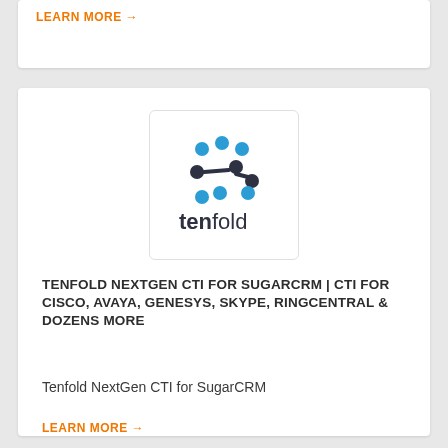LEARN MORE →
[Figure (logo): Tenfold logo: connectivity dots and node icon above the word 'tenfold' in dark text]
TENFOLD NEXTGEN CTI FOR SUGARCRM | CTI FOR CISCO, AVAYA, GENESYS, SKYPE, RINGCENTRAL & DOZENS MORE
Tenfold NextGen CTI for SugarCRM
LEARN MORE →